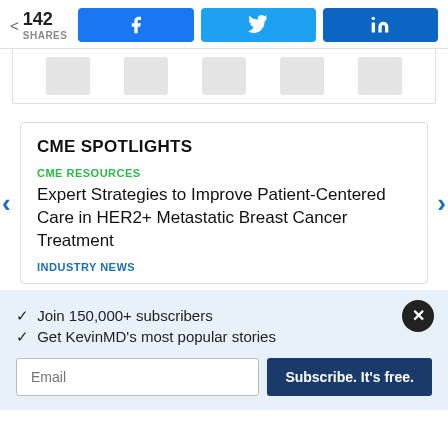142 SHARES
[Figure (screenshot): Social share bar with 142 shares count and Facebook, Twitter, LinkedIn share buttons, plus a row of greyed-out social icon buttons below]
CME SPOTLIGHTS
CME RESOURCES
Expert Strategies to Improve Patient-Centered Care in HER2+ Metastatic Breast Cancer Treatment
INDUSTRY NEWS
✓  Join 150,000+ subscribers
✓  Get KevinMD's most popular stories
Email | Subscribe. It's free.